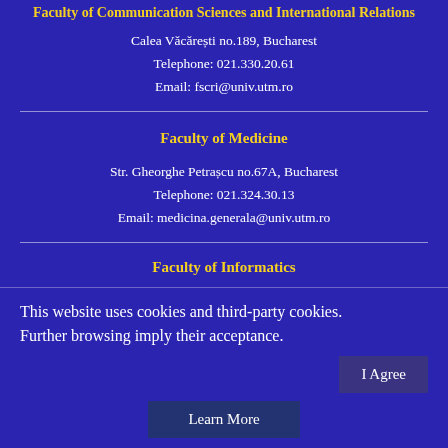Faculty of Communication Sciences and International Relations
Calea Văcărești no.189, Bucharest
Telephone: 021.330.20.61
Email: fscri@univ.utm.ro
Faculty of Medicine
Str. Gheorghe Petrașcu no.67A, Bucharest
Telephone: 021.324.30.13
Email: medicina.generala@univ.utm.ro
Faculty of Informatics
This website uses cookies and third-party cookies. Further browsing imply their acceptance.
I Agree
Learn More